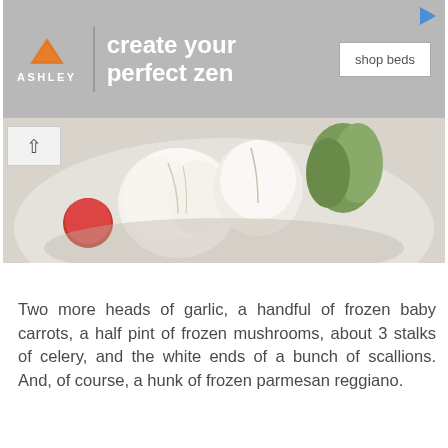[Figure (infographic): Ashley Furniture advertisement banner with orange house logo, text 'create your perfect zen', and 'shop beds' button on gray background]
[Figure (photo): Close-up photo of garlic heads and vegetables in a white bowl, partially visible]
Two more heads of garlic, a handful of frozen baby carrots, a half pint of frozen mushrooms, about 3 stalks of celery, and the white ends of a bunch of scallions. And, of course, a hunk of frozen parmesan reggiano.
[Figure (photo): Braised meat with cherry tomatoes (red and orange/yellow), pearl onions, and garlic cloves in a white bowl with dark braising liquid]